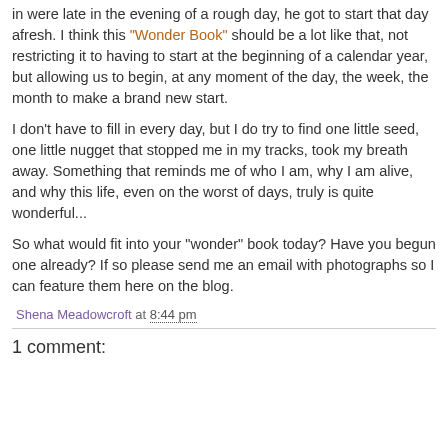in were late in the evening of a rough day, he got to start that day afresh. I think this "Wonder Book" should be a lot like that, not restricting it to having to start at the beginning of a calendar year, but allowing us to begin, at any moment of the day, the week, the month to make a brand new start.
I don't have to fill in every day, but I do try to find one little seed, one little nugget that stopped me in my tracks, took my breath away. Something that reminds me of who I am, why I am alive, and why this life, even on the worst of days, truly is quite wonderful...
So what would fit into your "wonder" book today? Have you begun one already? If so please send me an email with photographs so I can feature them here on the blog.
Shena Meadowcroft at 8:44 pm
1 comment: